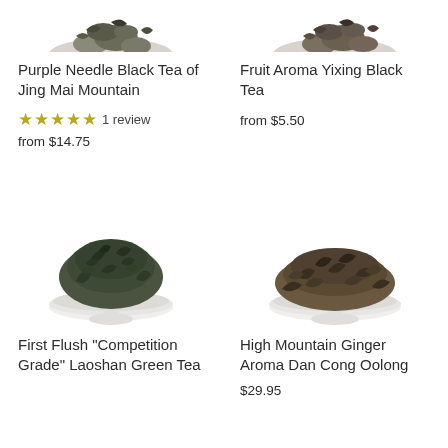[Figure (photo): Partial top view of tea leaves in a white bowl, left side]
[Figure (photo): Partial top view of tea leaves in a white bowl, right side]
Purple Needle Black Tea of Jing Mai Mountain
★★★★★ 1 review
from $14.75
Fruit Aroma Yixing Black Tea
from $5.50
[Figure (photo): Dark green dried tea leaves piled on a small white shallow dish]
[Figure (photo): Dark brown dried oolong tea leaves piled on a small white shallow dish]
First Flush "Competition Grade" Laoshan Green Tea
High Mountain Ginger Aroma Dan Cong Oolong
$29.95